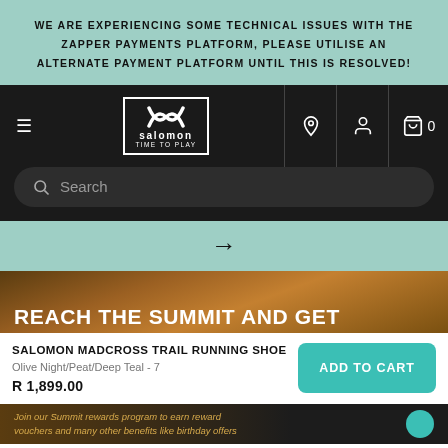WE ARE EXPERIENCING SOME TECHNICAL ISSUES WITH THE ZAPPER PAYMENTS PLATFORM, PLEASE UTILISE AN ALTERNATE PAYMENT PLATFORM UNTIL THIS IS RESOLVED!
[Figure (logo): Salomon 'Time to Play' logo on dark navigation bar with hamburger menu, location pin, user icon, and shopping bag with count 0]
Search
[Figure (photo): Hero image showing outdoor/trail scene with white bold text 'REACH THE SUMMIT AND GET']
SALOMON MADCROSS TRAIL RUNNING SHOE
Olive Night/Peat/Deep Teal - 7
R 1,899.00
ADD TO CART
Join our Summit rewards program to earn reward vouchers and many other benefits like birthday offers